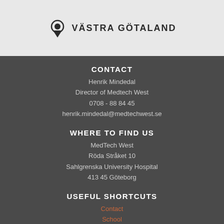[Figure (logo): Västra Götaland region logo with location pin icon and text VASTRA GOTALAND]
CONTACT
Henrik Mindedal
Director of Medtech West
0708 - 88 84 45
henrik.mindedal@medtechwest.se
WHERE TO FIND US
MedTech West
Röda Stråket 10
Sahlgrenska University Hospital
413 45 Göteborg
USEFUL SHORTCUTS
Contact